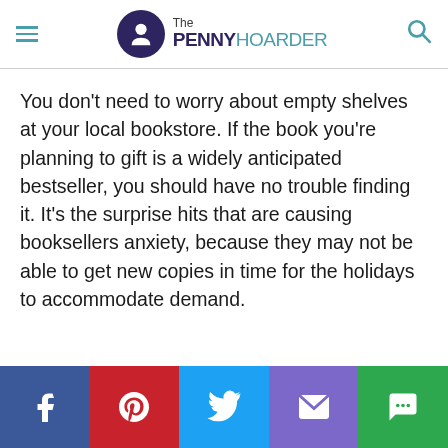The PENNY HOARDER
You don't need to worry about empty shelves at your local bookstore. If the book you're planning to gift is a widely anticipated bestseller, you should have no trouble finding it. It's the surprise hits that are causing booksellers anxiety, because they may not be able to get new copies in time for the holidays to accommodate demand.
Social share bar: Facebook, Pinterest, Twitter, Email, Chat